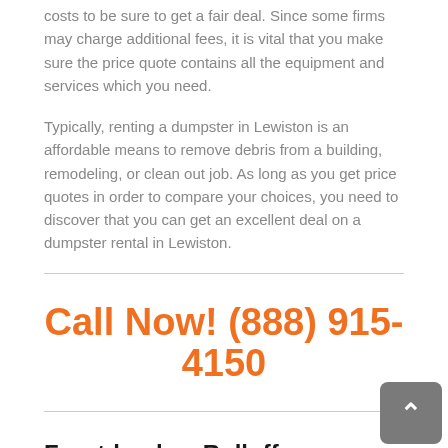Getting quotes is among the very best ways to compare dumpster costs to be sure to get a fair deal. Since some firms may charge additional fees, it is vital that you make sure the price quote contains all the equipment and services which you need.
Typically, renting a dumpster in Lewiston is an affordable means to remove debris from a building, remodeling, or clean out job. As long as you get price quotes in order to compare your choices, you need to discover that you can get an excellent deal on a dumpster rental in Lewiston.
Call Now! (888) 915-4150
Front-load vs Rolloff Dumpsters
Front -load and roll off dumpsters have distinct designs which make them useful in various